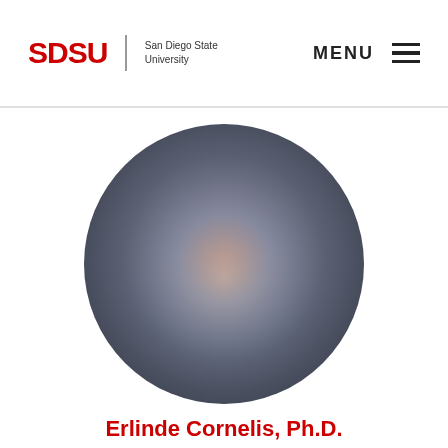SDSU San Diego State University | MENU
[Figure (photo): Circular profile photo of Erlinde Cornelis, Ph.D., showing a blurred/placeholder portrait with a blueish-gray gradient background and warm center tones.]
Erlinde Cornelis, Ph.D.